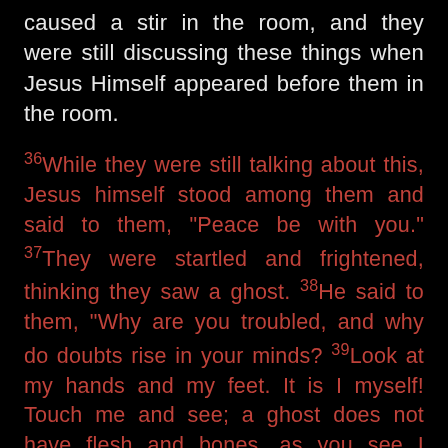caused a stir in the room, and they were still discussing these things when Jesus Himself appeared before them in the room.
36While they were still talking about this, Jesus himself stood among them and said to them, "Peace be with you." 37They were startled and frightened, thinking they saw a ghost. 38He said to them, "Why are you troubled, and why do doubts rise in your minds? 39Look at my hands and my feet. It is I myself! Touch me and see; a ghost does not have flesh and bones, as you see I have." 40When he had said this, he showed them his hands and feet. 41And while they still did not believe it because of joy and amazement, he